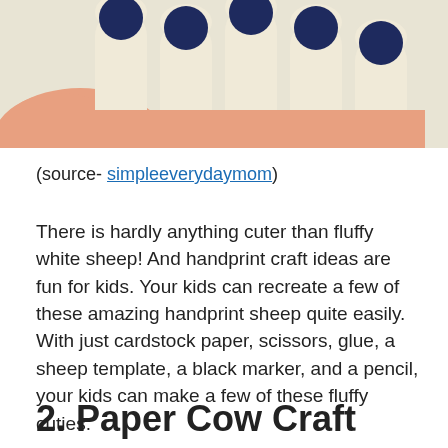[Figure (photo): Close-up photo of a hand holding cream/ivory colored craft pieces with dark navy blue tips, resembling fingers or sheep legs, against a white background.]
(source- simpleeverydaymom)
There is hardly anything cuter than fluffy white sheep! And handprint craft ideas are fun for kids. Your kids can recreate a few of these amazing handprint sheep quite easily. With just cardstock paper, scissors, glue, a sheep template, a black marker, and a pencil, your kids can make a few of these fluffy cuties.
2. Paper Cow Craft